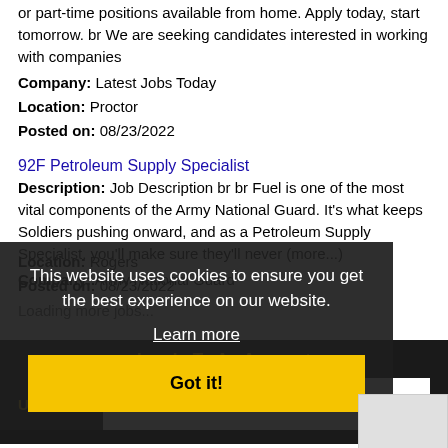or part-time positions available from home. Apply today, start tomorrow. br We are seeking candidates interested in working with companies
Company: Latest Jobs Today
Location: Proctor
Posted on: 08/23/2022
92F Petroleum Supply Specialist
Description: Job Description br br Fuel is one of the most vital components of the Army National Guard. It's what keeps Soldiers pushing onward, and as a Petroleum Supply Specialist, you'll make sure they'll never (more...)
Company: Army National Guard
Location: Rogers
Posted on: 08/23/2022
Loading more jobs...
This website uses cookies to ensure you get the best experience on our website. Learn more Got it!
Log In To An Account
Username:
Password: